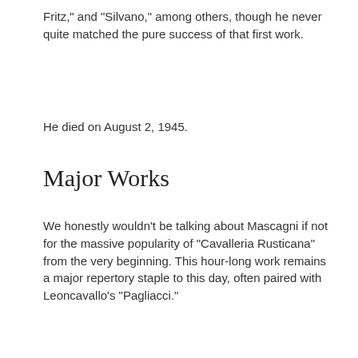Fritz," and "Silvano," among others, though he never quite matched the pure success of that first work.
He died on August 2, 1945.
Major Works
We honestly wouldn't be talking about Mascagni if not for the massive popularity of "Cavalleria Rusticana" from the very beginning. This hour-long work remains a major repertory staple to this day, often paired with Leoncavallo's "Pagliacci."
Much of the appeal from "Cavalleria" is its melodic invention,
We use cookies to help us measure and improve this website. Learn more
I AGREE
A Look At His Other Operas